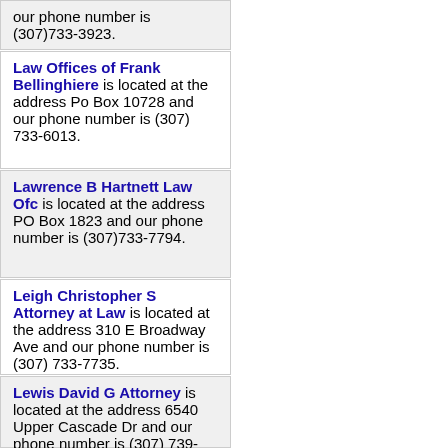our phone number is (307)733-3923.
Law Offices of Frank Bellinghiere is located at the address Po Box 10728 and our phone number is (307) 733-6013.
Lawrence B Hartnett Law Ofc is located at the address PO Box 1823 and our phone number is (307)733-7794.
Leigh Christopher S Attorney at Law is located at the address 310 E Broadway Ave and our phone number is (307) 733-7735.
Lewis David G Attorney is located at the address 6540 Upper Cascade Dr and our phone number is (307) 739-8900.